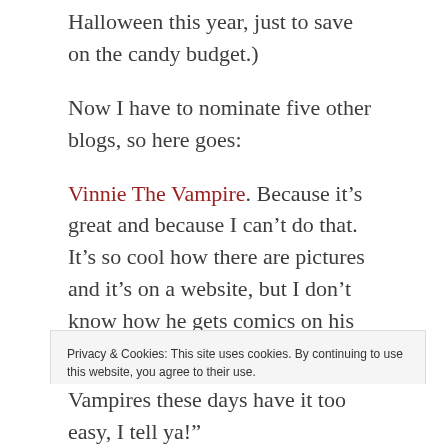Halloween this year, just to save on the candy budget.)
Now I have to nominate five other blogs, so here goes:
Vinnie The Vampire. Because it’s great and because I can’t do that. It’s so cool how there are pictures and it’s on a website, but I don’t know how he gets comics on his website. And it’s completely oozing with teen angst, if the teenager in question was a vampire and had to
Privacy & Cookies: This site uses cookies. By continuing to use this website, you agree to their use.
To find out more, including how to control cookies, see here: Cookie Policy
Vampires these days have it too easy, I tell ya!”